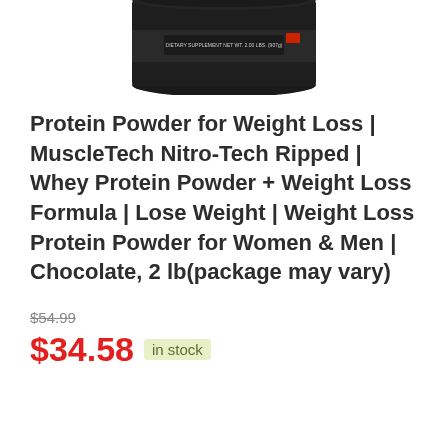[Figure (photo): Bottom portion of a dark black cylindrical protein powder supplement container (MuscleTech Nitro-Tech Ripped) showing the base of the tub with label text 'DIETARY SUPPLEMENT NET WT. 2.00 LBS. (907g)']
Protein Powder for Weight Loss | MuscleTech Nitro-Tech Ripped | Whey Protein Powder + Weight Loss Formula | Lose Weight | Weight Loss Protein Powder for Women & Men | Chocolate, 2 lb(package may vary)
$54.99
$34.58 in stock